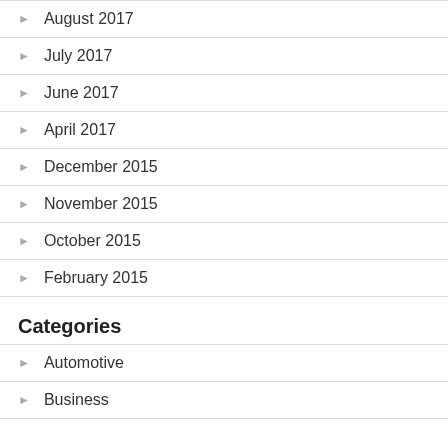August 2017
July 2017
June 2017
April 2017
December 2015
November 2015
October 2015
February 2015
Categories
Automotive
Business